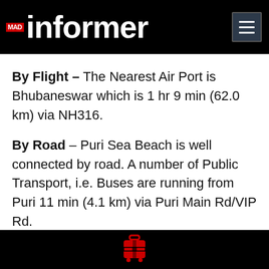MAD informer
By Flight – The Nearest Air Port is Bhubaneswar which is 1 hr 9 min (62.0 km) via NH316.
By Road – Puri Sea Beach is well connected by road. A number of Public Transport, i.e. Buses are running from Puri 11 min (4.1 km) via Puri Main Rd/VIP Rd.
[Figure (logo): Red luggage/travel icon in black footer bar]